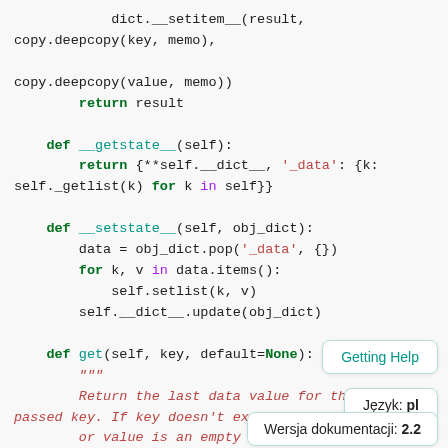dict.__setitem__(result, copy.deepcopy(key, memo),
copy.deepcopy(value, memo))
        return result

    def __getstate__(self):
        return {**self.__dict__, '_data': {k:
self._getlist(k) for k in self}}

    def __setstate__(self, obj_dict):
        data = obj_dict.pop('_data', {})
        for k, v in data.items():
            self.setlist(k, v)
        self.__dict__.update(obj_dict)

    def get(self, key, default=None):
        """
        Return the last data value for the
passed key. If key doesn't ex...
        or value is an empty list, return
...
Getting Help
Język: pl
Wersja dokumentacji: 2.2